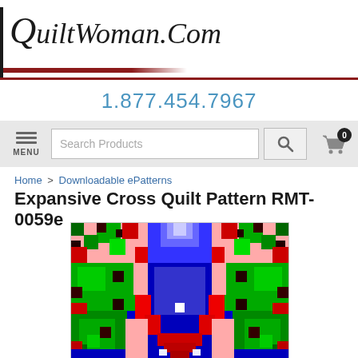QuiltWoman.Com
1.877.454.7967
[Figure (screenshot): Navigation bar with hamburger menu icon labeled MENU, a search box with placeholder 'Search Products', a search button with magnifying glass icon, and a shopping cart icon with badge showing 0]
Home > Downloadable ePatterns
Expansive Cross Quilt Pattern RMT-0059e
[Figure (photo): A colorful pixel-art style quilt pattern showing an expansive cross design with colors including blue, green, red, pink/salmon, black, and white arranged in a symmetric pattern]